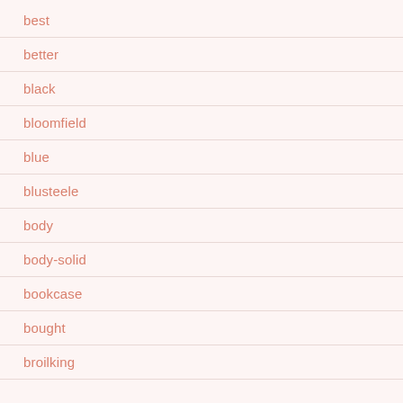best
better
black
bloomfield
blue
blusteele
body
body-solid
bookcase
bought
broilking